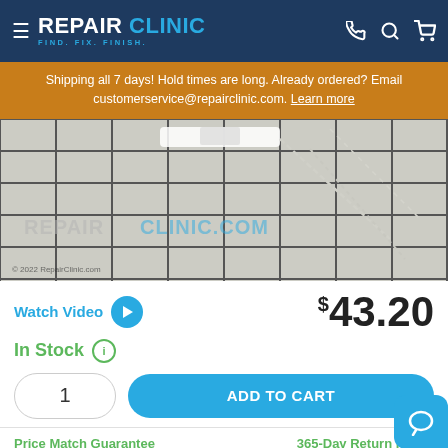REPAIR CLINIC - FIND. FIX. FINISH.
Shipping all 7 days! Hold times are long. Already ordered? Email customerservice@repairclinic.com. Learn more
[Figure (photo): Close-up photo of a white plastic part (appears to be a refrigerator door shelf bracket or clip) against a white grid/wire rack background. Watermark text reads REPAIRCLINIC.COM. Copyright: © 2022 RepairClinic.com]
Watch Video
$43.20
In Stock
1
ADD TO CART
Price Match Guarantee
365-Day Return Policy